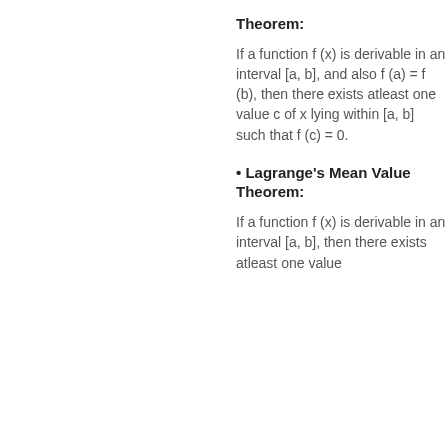Theorem:
If a function f (x) is derivable in an interval [a, b], and also f (a) = f (b), then there exists atleast one value c of x lying within [a, b] such that f (c) = 0.
• Lagrange's Mean Value Theorem:
If a function f (x) is derivable in an interval [a, b], then there exists atleast one value